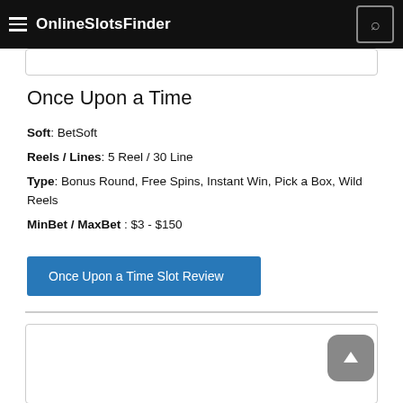OnlineSlotsFinder
Once Upon a Time
Soft: BetSoft
Reels / Lines: 5 Reel / 30 Line
Type: Bonus Round, Free Spins, Instant Win, Pick a Box, Wild Reels
MinBet / MaxBet : $3 - $150
Once Upon a Time Slot Review